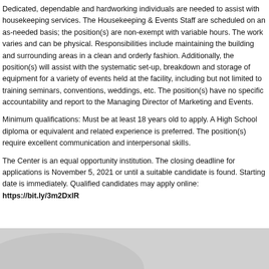Dedicated, dependable and hardworking individuals are needed to assist with housekeeping services. The Housekeeping & Events Staff are scheduled on an as-needed basis; the position(s) are non-exempt with variable hours. The work varies and can be physical. Responsibilities include maintaining the building and surrounding areas in a clean and orderly fashion. Additionally, the position(s) will assist with the systematic set-up, breakdown and storage of equipment for a variety of events held at the facility, including but not limited to training seminars, conventions, weddings, etc. The position(s) have no specific accountability and report to the Managing Director of Marketing and Events.
Minimum qualifications: Must be at least 18 years old to apply. A High School diploma or equivalent and related experience is preferred. The position(s) require excellent communication and interpersonal skills.
The Center is an equal opportunity institution. The closing deadline for applications is November 5, 2021 or until a suitable candidate is found. Starting date is immediately. Qualified candidates may apply online: https://bit.ly/3m2DxlR